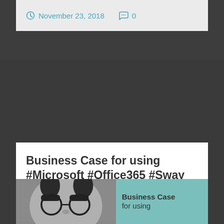November 23, 2018   0
Business Case for using #Microsoft #Office365 #Sway
[Figure (photo): Black and white photo of a person wearing novelty glasses with bushy eyebrows and round lenses, next to a teal/mint colored panel with text 'Business Case for using']